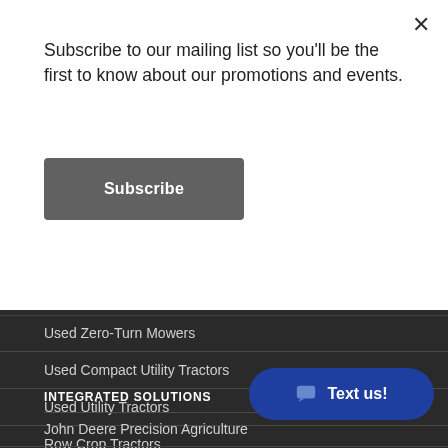Subscribe to our mailing list so you'll be the first to know about our promotions and events.
Subscribe
Used Lawn & Garden Tractors
Used Zero-Turn Mowers
Used Compact Utility Tractors
Used Utility Tractors
Row Crop Tractors
INTEGRATED SOLUTIONS
John Deere Precision Agriculture
CEC Precision Support Packages
Centera Agricultural Drones